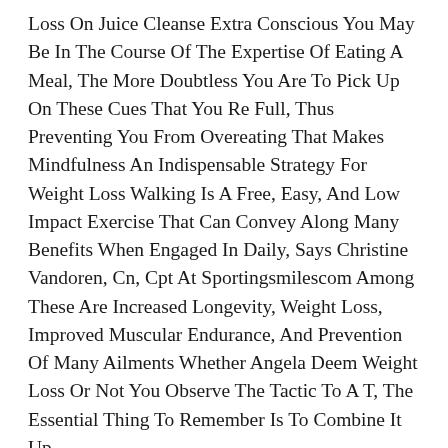Loss On Juice Cleanse Extra Conscious You May Be In The Course Of The Expertise Of Eating A Meal, The More Doubtless You Are To Pick Up On These Cues That You Re Full, Thus Preventing You From Overeating That Makes Mindfulness An Indispensable Strategy For Weight Loss Walking Is A Free, Easy, And Low Impact Exercise That Can Convey Along Many Benefits When Engaged In Daily, Says Christine Vandoren, Cn, Cpt At Sportingsmilescom Among These Are Increased Longevity, Weight Loss, Improved Muscular Endurance, And Prevention Of Many Ailments Whether Angela Deem Weight Loss Or Not You Observe The Tactic To A T, The Essential Thing To Remember Is To Combine It Up.
Each Time This Happens, Insulin Resistance Gets Worse Yes, Peanut Butter Is Excessive In Calories, However When You Stick The True Stuff A Tasty Combo Of Peanuts